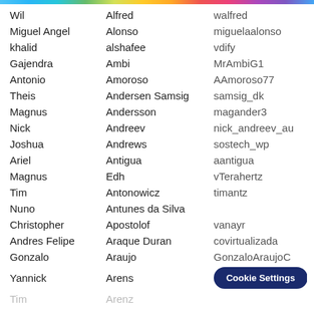| First Name | Last Name | Username |
| --- | --- | --- |
| Wil | Alfred | walfred |
| Miguel Angel | Alonso | miguelaalonso |
| khalid | alshafee | vdify |
| Gajendra | Ambi | MrAmbiG1 |
| Antonio | Amoroso | AAmoroso77 |
| Theis | Andersen Samsig | samsig_dk |
| Magnus | Andersson | magander3 |
| Nick | Andreev | nick_andreev_au |
| Joshua | Andrews | sostech_wp |
| Ariel | Antigua | aantigua |
| Magnus | Edh | vTerahertz |
| Tim | Antonowicz | timantz |
| Nuno | Antunes da Silva |  |
| Christopher | Apostolof | vanayr |
| Andres Felipe | Araque Duran | covirtualizada |
| Gonzalo | Araujo | GonzaloAraujoC |
| Yannick | Arens | [Cookie Settings] |
| Tim | Arenz | … |